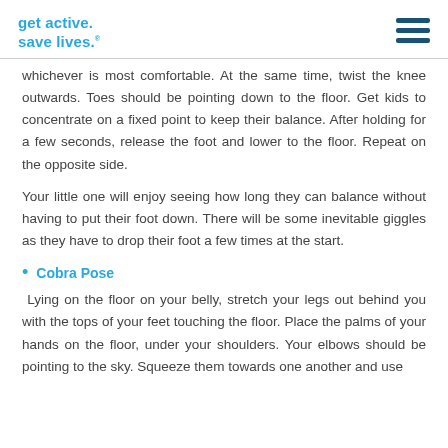get active. save lives.
whichever is most comfortable. At the same time, twist the knee outwards. Toes should be pointing down to the floor. Get kids to concentrate on a fixed point to keep their balance. After holding for a few seconds, release the foot and lower to the floor. Repeat on the opposite side.
Your little one will enjoy seeing how long they can balance without having to put their foot down. There will be some inevitable giggles as they have to drop their foot a few times at the start.
Cobra Pose
Lying on the floor on your belly, stretch your legs out behind you with the tops of your feet touching the floor. Place the palms of your hands on the floor, under your shoulders. Your elbows should be pointing to the sky. Squeeze them towards one another and use